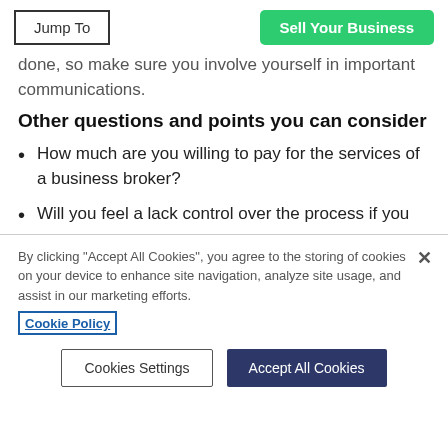Jump To | Sell Your Business
done, so make sure you involve yourself in important communications.
Other questions and points you can consider
How much are you willing to pay for the services of a business broker?
Will you feel a lack control over the process if you
By clicking “Accept All Cookies”, you agree to the storing of cookies on your device to enhance site navigation, analyze site usage, and assist in our marketing efforts.
Cookie Policy
Cookies Settings | Accept All Cookies